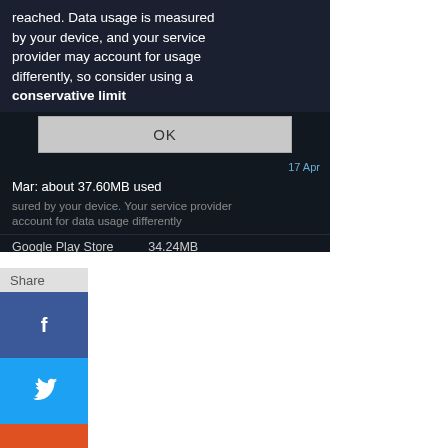[Figure (screenshot): Android smartphone screenshot showing a data usage dialog with text 'reached. Data usage is measured by your device, and your service provider may account for usage differently, so consider using a conservative limit' and an OK button, followed by data usage info showing 'Mar: about 37.60MB used' and partial text about service provider, with Google Play Store row showing 34.24MB]
[Figure (infographic): Share sidebar showing Facebook, Twitter, StumbleUpon, Reddit, and Email share buttons]
y default, the data limit is set to 5.0 GB and the data ge warning is set to 2.0 GB. You can tap on each line in the ph to change.
[Figure (screenshot): Android Data usage settings screen showing status bar with time 17:19, Data usage header with gear icon, and Mobile data toggle set to ON]